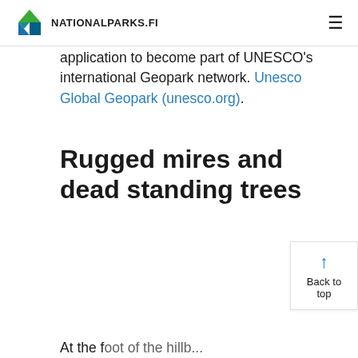NATIONALPARKS.FI
application to become part of UNESCO's international Geopark network. Unesco Global Geopark (unesco.org).
Rugged mires and dead standing trees
At the foot of the hillab...